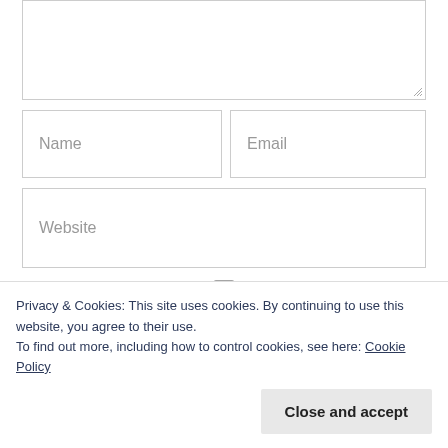[textarea]
Name
Email
Website
Notify me of follow-up comments by email.
Notify me of new posts by email.
Privacy & Cookies: This site uses cookies. By continuing to use this website, you agree to their use.
To find out more, including how to control cookies, see here: Cookie Policy
Close and accept